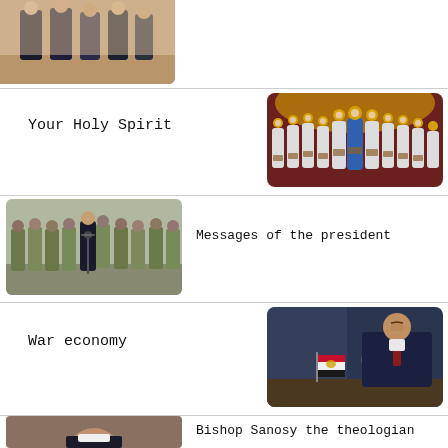[Figure (photo): Group of men in formal suits standing together, possibly a diplomatic or official meeting]
Your Holy Spirit
[Figure (illustration): Religious illustration showing many figures in white robes with golden halos, one figure in blue at center]
[Figure (photo): Man in dark suit speaking at a microphone surrounded by soldiers in camouflage uniforms outdoors]
Messages of the president
War economy
[Figure (photo): Man in dark suit sitting at a desk with an Egyptian flag, appearing to give a speech or press conference]
[Figure (photo): Portrait of a religious figure, partially visible]
Bishop Sanosy the theologian